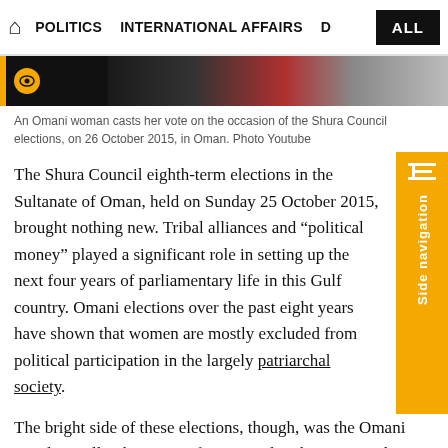POLITICS   INTERNATIONAL AFFAIRS   D   ALL
[Figure (photo): Partially visible image of an Omani woman at a voting station, with an orange eye/visibility icon overlay]
An Omani woman casts her vote on the occasion of the Shura Council elections, on 26 October 2015, in Oman. Photo Youtube
The Shura Council eighth-term elections in the Sultanate of Oman, held on Sunday 25 October 2015, brought nothing new. Tribal alliances and “political money” played a significant role in setting up the next four years of parliamentary life in this Gulf country. Omani elections over the past eight years have shown that women are mostly excluded from political participation in the largely patriarchal society.
The bright side of these elections, though, was the Omani people’s will to bring new faces into the Shura Council. These new members, most of them are well educated, are